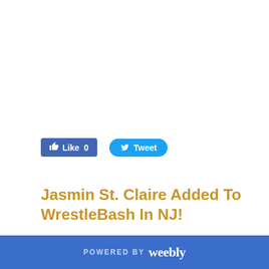[Figure (screenshot): Facebook Like button (blue rounded rectangle) showing 'Like 0' with thumbs up icon, and Twitter Tweet button (blue pill shape) with bird icon]
Jasmin St. Claire Added To WrestleBash In NJ!
7/15/2022   0 Comments
[Figure (screenshot): Chat widget with Damage365 Promotions logo avatar, title 'Chat with Damage365 Promotions', subtitle text, and red messenger icon]
POWERED BY weebly